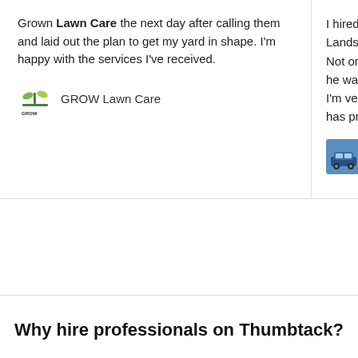Grown Lawn Care the next day after calling them and laid out the plan to get my yard in shape. I'm happy with the services I've received.
[Figure (logo): GROW Lawn Care logo — small plant/grass sprout icon with text GROW]
GROW Lawn Care
I hired a Landsca Not onl he was I'm very has pro
[Figure (photo): Blue car avatar image for the second review's business]
Ac
Why hire professionals on Thumbtack?
[Figure (illustration): Dollar sign icon inside a circle, outlined in purple/blue]
Free to use